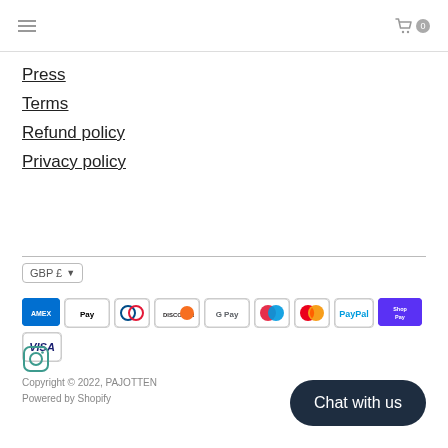Navigation header with hamburger menu and cart icon (0)
Press
Terms
Refund policy
Privacy policy
GBP £
[Figure (other): Payment method icons: American Express, Apple Pay, Diners Club, Discover, Google Pay, Maestro, Mastercard, PayPal, Shop Pay, Visa]
[Figure (other): Instagram social media icon]
Copyright © 2022, PAJOTTEN
Powered by Shopify
Chat with us